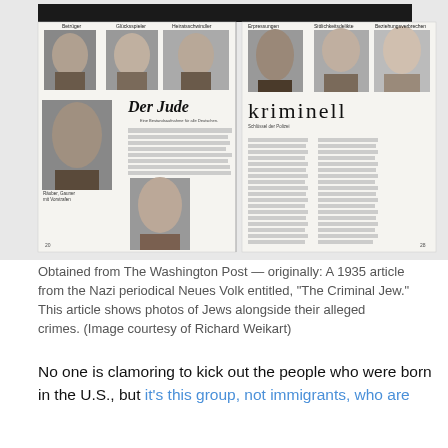[Figure (photo): Scanned reproduction of a 1935 Nazi periodical Neues Volk spread showing two pages. Left page has title 'Der Jude' with photos of Jewish men and women labeled with German headings (Betrüger, Glücksspieler, Heiratsschwindler) and body text. Right page has title 'kriminell' with similar mugshot-style photos and columns of German text.]
Obtained from The Washington Post — originally: A 1935 article from the Nazi periodical Neues Volk entitled, "The Criminal Jew." This article shows photos of Jews alongside their alleged crimes. (Image courtesy of Richard Weikart)
No one is clamoring to kick out the people who were born in the U.S., but it's this group, not immigrants, who are